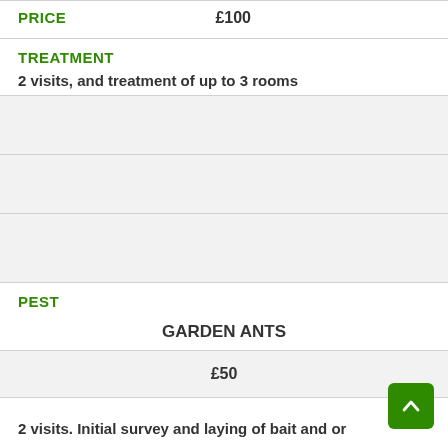PRICE
£100
TREATMENT
2 visits, and treatment of up to 3 rooms
PEST
GARDEN ANTS
£50
2 visits. Initial survey and laying of bait and or